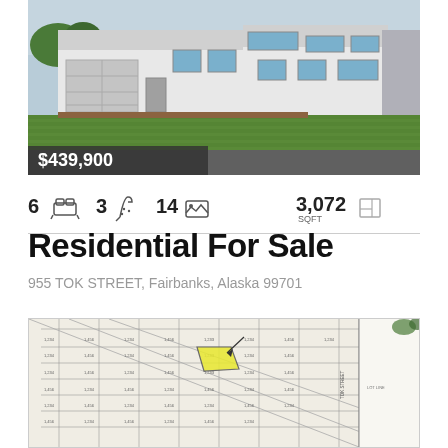[Figure (photo): Exterior photo of a large white two-story residential house with attached garage, green lawn, and dark driveway. Price overlay shows $439,900.]
$439,900
6 [bed icon]  3 [bath icon]  14 [photo icon]  3,072 SQFT [floor plan icon]
Residential For Sale
955 TOK STREET, Fairbanks, Alaska 99701
[Figure (map): Plat/subdivision map showing property lots in Fairbanks area. One lot highlighted in yellow indicating the subject property at 955 Tok Street.]